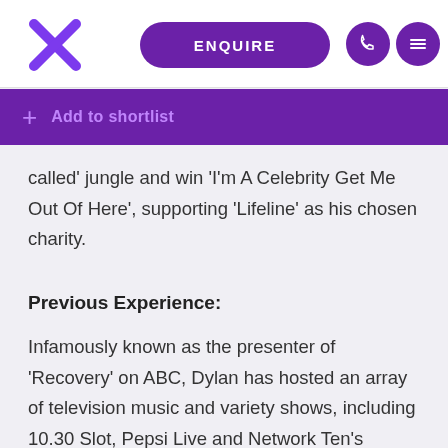ENQUIRE
Add to shortlist
called' jungle and win 'I'm A Celebrity Get Me Out Of Here', supporting 'Lifeline' as his chosen charity.
Previous Experience:
Infamously known as the presenter of 'Recovery' on ABC, Dylan has hosted an array of television music and variety shows, including 10.30 Slot, Pepsi Live and Network Ten's